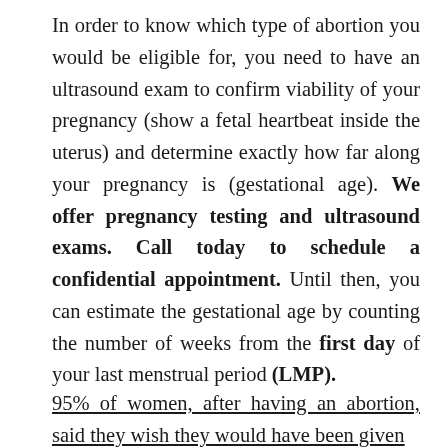In order to know which type of abortion you would be eligible for, you need to have an ultrasound exam to confirm viability of your pregnancy (show a fetal heartbeat inside the uterus) and determine exactly how far along your pregnancy is (gestational age). We offer pregnancy testing and ultrasound exams. Call today to schedule a confidential appointment. Until then, you can estimate the gestational age by counting the number of weeks from the first day of your last menstrual period (LMP).
95% of women, after having an abortion, said they wish they would have been given